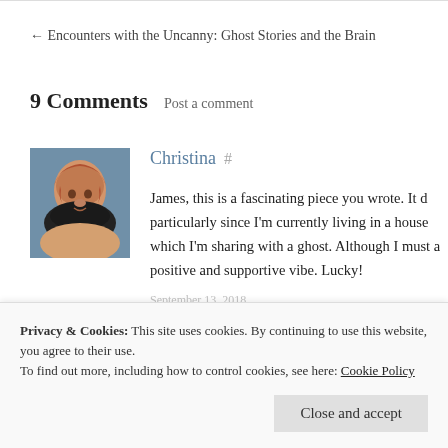← Encounters with the Uncanny: Ghost Stories and the Brain
9 Comments   Post a comment
Christina #
James, this is a fascinating piece you wrote. It d… particularly since I'm currently living in a house… which I'm sharing with a ghost. Although I must… positive and supportive vibe. Lucky!
Privacy & Cookies: This site uses cookies. By continuing to use this website, you agree to their use.
To find out more, including how to control cookies, see here: Cookie Policy
Close and accept